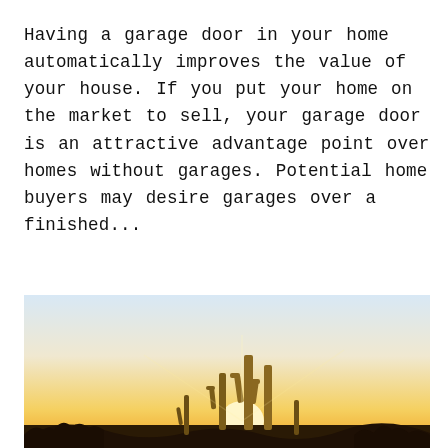Having a garage door in your home automatically improves the value of your house. If you put your home on the market to sell, your garage door is an attractive advantage point over homes without garages. Potential home buyers may desire garages over a finished...
[Figure (photo): A desert landscape at sunset with tall saguaro cacti silhouetted against a bright golden-white sky, desert shrubs in the foreground, warm orange and yellow glow from the sun low on the horizon.]